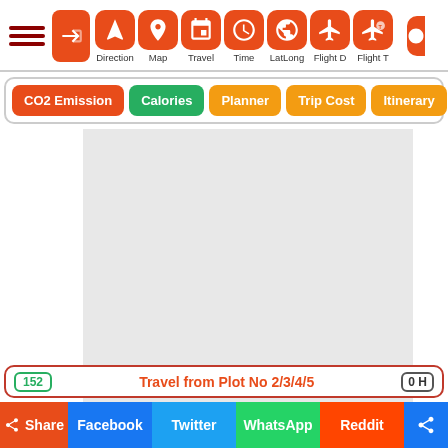[Figure (screenshot): Top navigation bar with hamburger menu, direction swap button, and icon buttons for: Direction, Map, Travel, Time, LatLong, Flight D, Flight T, and a partially visible button]
[Figure (screenshot): Sub-navigation pill buttons: CO2 Emission (red), Calories (green), Planner (orange), Trip Cost (orange), Itinerary (orange)]
[Figure (screenshot): Large light grey map/content placeholder area]
152    Travel from Plot No 2/3/4/5    0 H
[Figure (screenshot): Share bar with buttons: Share, Facebook, Twitter, WhatsApp, Reddit, and a share icon button]